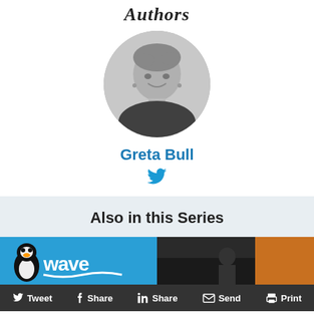Authors
[Figure (photo): Black and white circular portrait photo of Greta Bull, a woman with short curly hair, smiling, wearing a dark top with small embellishments.]
Greta Bull
[Figure (illustration): Twitter bird icon in blue]
Also in this Series
[Figure (photo): Two side-by-side images: left shows a Wave mobile money sign with a penguin mascot on blue background; right shows a dark interior scene with a person.]
Tweet  Share  Share  Send  Print